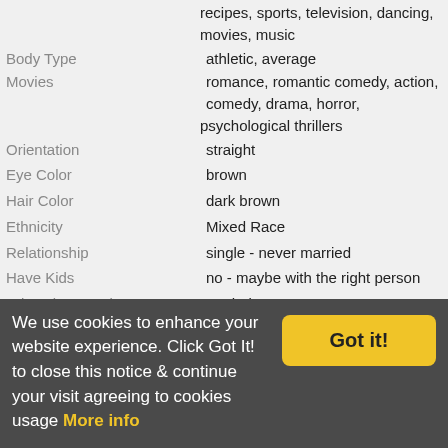recipes, sports, television, dancing, movies, music
Body Type: athletic, average
Movies: romance, romantic comedy, action, comedy, drama, horror, psychological thrillers
Orientation: straight
Eye Color: brown
Hair Color: dark brown
Ethnicity: Mixed Race
Relationship: single - never married
Have Kids: no - maybe with the right person
Education Level: Bachelor's Degree
Profession: Medical / Health Services
Income level: that's private
Do you smoke?: no - will not date a smoker
Do you drink?: beer, wine, liquor, socially
I currently live: on a pirate ship
Socially, I am: the life of the party, social butterfly
Political Views: not interested in politics
Food Related: Candy is a Food Group, Right?, Spicy, Caribbean, Carnivore, Sushi, Chinese, Thai, Italian, Japanese, Mediterranean, Mexican
Personality: conservative, lover, extrovert, romantic, fun loving, intellectual, introvert, jock, liberal
We use cookies to enhance your website experience. Click Got It! to close this notice & continue your visit agreeing to cookies usage More info